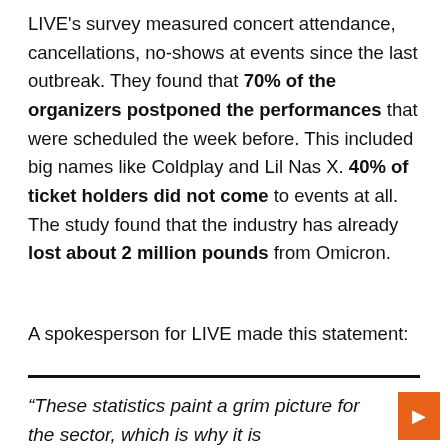LIVE's survey measured concert attendance, cancellations, no-shows at events since the last outbreak. They found that 70% of the organizers postponed the performances that were scheduled the week before. This included big names like Coldplay and Lil Nas X. 40% of ticket holders did not come to events at all. The study found that the industry has already lost about 2 million pounds from Omicron.
A spokesperson for LIVE made this statement:
“These statistics paint a grim picture for the sector, which is why it is